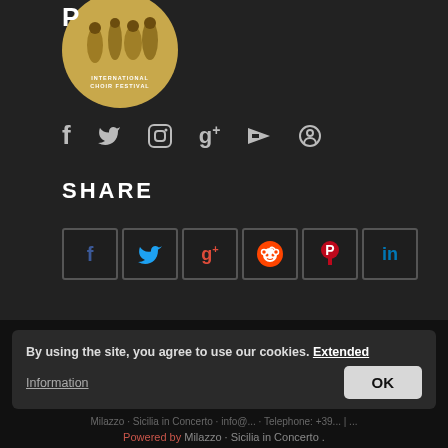[Figure (logo): Circular logo with golden/tan background showing silhouettes of musicians, text 'INTERNATIONAL CHOIR FESTIVAL' at bottom]
[Figure (infographic): Social media icon row: Facebook (f), Twitter (bird), Instagram (camera), Google+ (g+), YouTube (play), Pinterest (p)]
SHARE
[Figure (infographic): Share buttons row: Facebook, Twitter, Google+, Reddit, Pinterest, LinkedIn — each in a bordered square button]
By using the site, you agree to use our cookies. Extended Information
OK
Milazzo - Sicilia in Concerto
Powered by Milazzo - Sicilia in Concerto .